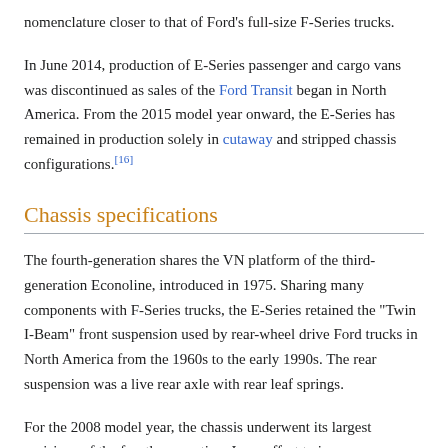nomenclature closer to that of Ford's full-size F-Series trucks.
In June 2014, production of E-Series passenger and cargo vans was discontinued as sales of the Ford Transit began in North America. From the 2015 model year onward, the E-Series has remained in production solely in cutaway and stripped chassis configurations.[16]
Chassis specifications
The fourth-generation shares the VN platform of the third-generation Econoline, introduced in 1975. Sharing many components with F-Series trucks, the E-Series retained the "Twin I-Beam" front suspension used by rear-wheel drive Ford trucks in North America from the 1960s to the early 1990s. The rear suspension was a live rear axle with rear leaf springs.
For the 2008 model year, the chassis underwent its largest revisions of the fourth generation. In an effort to improve handling and safety, larger brakes were added, improved steering, rollover stability control, and a